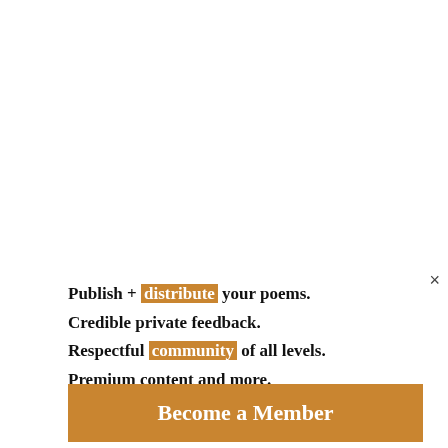Publish + distribute your poems. Credible private feedback. Respectful community of all levels. Premium content and more.
Become a Member